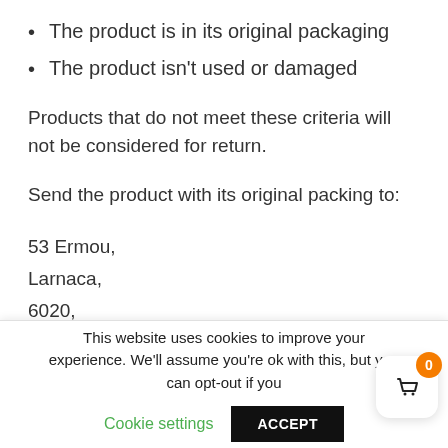The product is in its original packaging
The product isn't used or damaged
Products that do not meet these criteria will not be considered for return.
Send the product with its original packing to:
53 Ermou,
Larnaca,
6020,
Cyprus
This website uses cookies to improve your experience. We'll assume you're ok with this, but you can opt-out if you
Cookie settings
ACCEPT